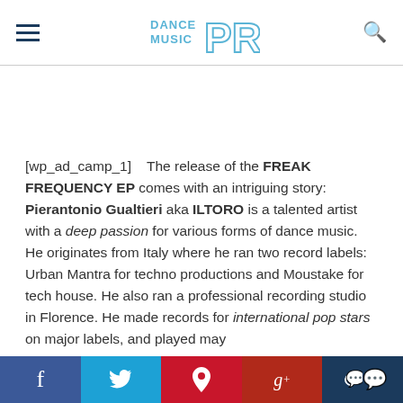Dance Music PR
[wp_ad_camp_1]   The release of the FREAK FREQUENCY EP comes with an intriguing story: Pierantonio Gualtieri aka ILTORO is a talented artist with a deep passion for various forms of dance music. He originates from Italy where he ran two record labels: Urban Mantra for techno productions and Moustake for tech house. He also ran a professional recording studio in Florence. He made records for international pop stars on major labels, and played may